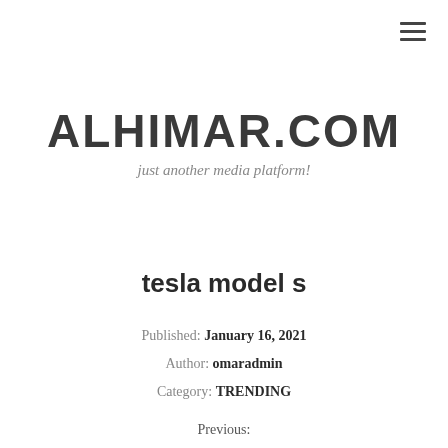☰
ALHIMAR.COM
just another media platform!
tesla model s
Published: January 16, 2021
Author: omaradmin
Category: TRENDING
Previous: